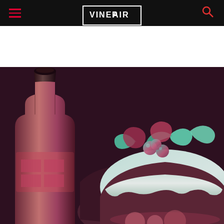VINEPAIR
[Figure (illustration): Holiday illustration showing a wine bottle on the left and a Christmas pudding with holly decoration in the center-right, on a dark burgundy/purple background with teal and pink gradient accents.]